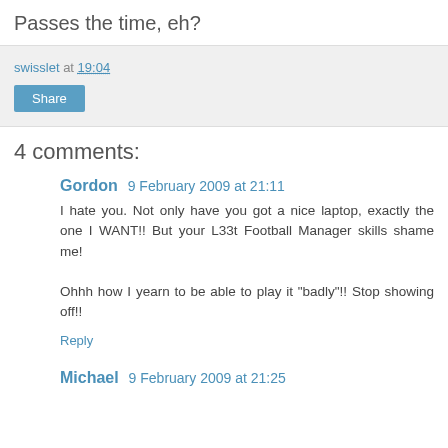Passes the time, eh?
swisslet at 19:04
Share
4 comments:
Gordon 9 February 2009 at 21:11
I hate you. Not only have you got a nice laptop, exactly the one I WANT!! But your L33t Football Manager skills shame me!

Ohhh how I yearn to be able to play it "badly"!! Stop showing off!!
Reply
Michael 9 February 2009 at 21:25